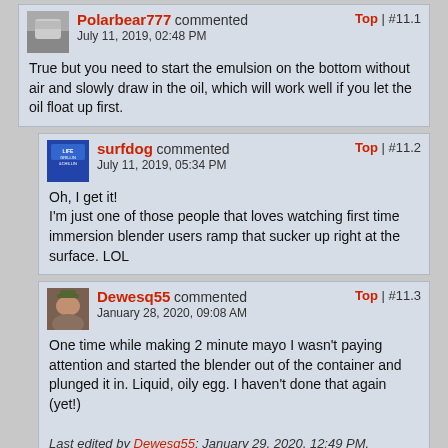Polarbear777 commented  Top | #11.1  July 11, 2019, 02:48 PM
True but you need to start the emulsion on the bottom without air and slowly draw in the oil, which will work well if you let the oil float up first.
surfdog commented  Top | #11.2  July 11, 2019, 05:34 PM
Oh, I get it!
I'm just one of those people that loves watching first time immersion blender users ramp that sucker up right at the surface. LOL
Dewesq55 commented  Top | #11.3  January 28, 2020, 09:08 AM
One time while making 2 minute mayo I wasn't paying attention and started the blender out of the container and plunged it in. Liquid, oily egg. I haven't done that again (yet!)
Last edited by Dewesq55; January 29, 2020, 12:49 PM.
1 like